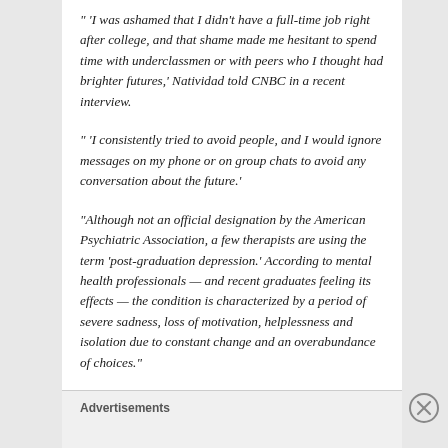" 'I was ashamed that I didn't have a full-time job right after college, and that shame made me hesitant to spend time with underclassmen or with peers who I thought had brighter futures,' Natividad told CNBC in a recent interview.
" 'I consistently tried to avoid people, and I would ignore messages on my phone or on group chats to avoid any conversation about the future.'
"Although not an official designation by the American Psychiatric Association, a few therapists are using the term 'post-graduation depression.' According to mental health professionals — and recent graduates feeling its effects — the condition is characterized by a period of severe sadness, loss of motivation, helplessness and isolation due to constant change and an overabundance of choices."
Advertisements